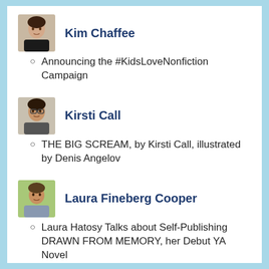[Figure (photo): Headshot of Kim Chaffee, a woman with dark hair]
Kim Chaffee
Announcing the #KidsLoveNonfiction Campaign
[Figure (photo): Headshot of Kirsti Call, a woman with dark hair and glasses]
Kirsti Call
THE BIG SCREAM, by Kirsti Call, illustrated by Denis Angelov
[Figure (photo): Headshot of Laura Fineberg Cooper, a woman outdoors]
Laura Fineberg Cooper
Laura Hatosy Talks about Self-Publishing DRAWN FROM MEMORY, her Debut YA Novel
[Figure (photo): Headshot of Lexi Donahue, a woman with glasses]
Lexi Donahue
SEPTEMBER Middle Grade and Young